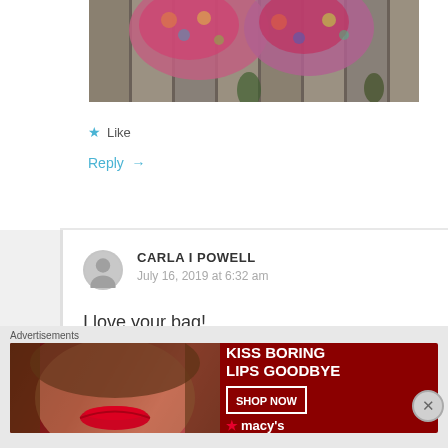[Figure (photo): Colorful knitted/crocheted bag hanging on a wooden fence, partially visible at the top of the page]
★ Like
Reply →
CARLA I POWELL
July 16, 2019 at 6:32 am
I love your bag!
★ Like
Advertisements
[Figure (photo): Macy's advertisement: KISS BORING LIPS GOODBYE with a woman's face with red lips, SHOP NOW button and Macy's logo]